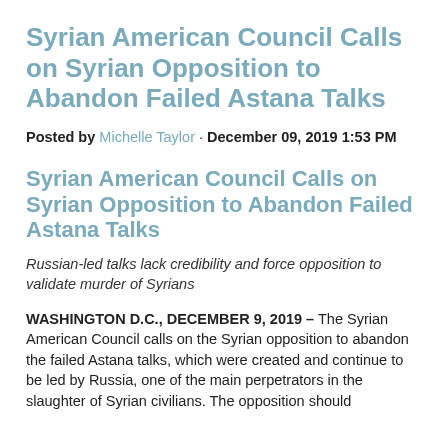Syrian American Council Calls on Syrian Opposition to Abandon Failed Astana Talks
Posted by Michelle Taylor · December 09, 2019 1:53 PM
Syrian American Council Calls on Syrian Opposition to Abandon Failed Astana Talks
Russian-led talks lack credibility and force opposition to validate murder of Syrians
WASHINGTON D.C., DECEMBER 9, 2019 – The Syrian American Council calls on the Syrian opposition to abandon the failed Astana talks, which were created and continue to be led by Russia, one of the main perpetrators in the slaughter of Syrian civilians. The opposition should